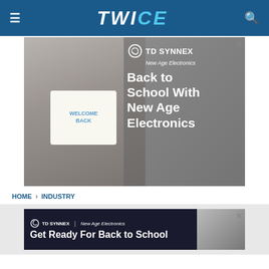TWICE
[Figure (photo): TD SYNNEX New Age Electronics advertisement showing a woman holding a 'Welcome Back' sign with text 'Back to School With New Age Electronics']
HOME > INDUSTRY
[Figure (photo): TD SYNNEX / New Age Electronics banner ad with text 'Get Ready For Back to School' and small thumbnail of woman with Welcome Back sign]